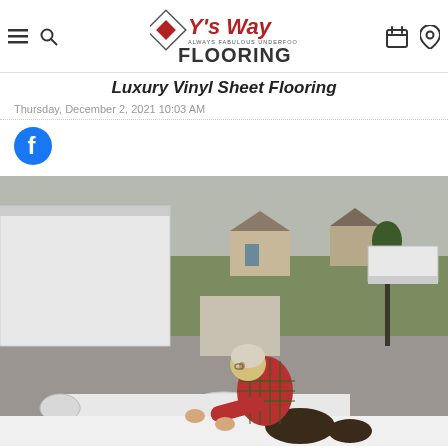Y's Way Flooring - Always Fabulous Underfoot
Luxury Vinyl Sheet Flooring
Thursday, December 2, 2021 10:03 AM
[Figure (logo): Facebook share icon - blue circle with white 'f']
[Figure (photo): Person kneeling on ground unrolling a large roll of white vinyl sheet flooring outdoors, with a truck and residential neighborhood visible in the background]